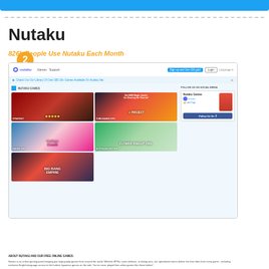[Figure (screenshot): Blue header bar at top of page]
2 Nutaku
826k People Use Nutaku Each Month
[Figure (screenshot): Screenshot of Nutaku.net gaming portal showing navigation bar, game thumbnails (Strategy, Turn-Based, College Crush, Flower Knight Girl, Big Bang Empire), and Facebook social widget]
ABOUT NUTAKU AND OUR FREE ONLINE GAMES: Nutaku is an online gaming portal bringing you high-quality games from around the world. Whether RPGs, tower defense, or dating sims, our specialized teams deliver the best titles from every genre - including exclusive English-language access to the hottest Japanese games on the web. You've never played free online games like these before!